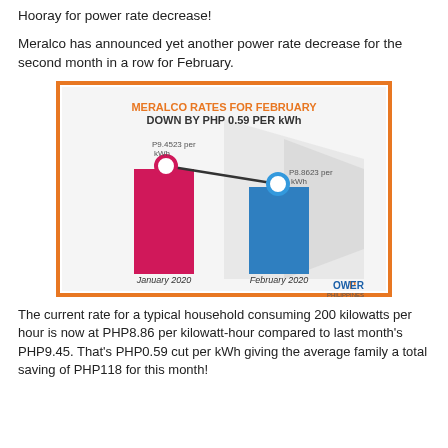Hooray for power rate decrease!
Meralco has announced yet another power rate decrease for the second month in a row for February.
[Figure (bar-chart): MERALCO RATES FOR FEBRUARY DOWN BY PHP 0.59 PER kWh]
The current rate for a typical household consuming 200 kilowatts per hour is now at PHP8.86 per kilowatt-hour compared to last month's PHP9.45. That's PHP0.59 cut per kWh giving the average family a total saving of PHP118 for this month!